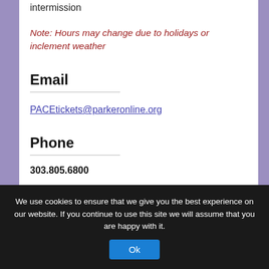intermission
Note: Hours may change due to holidays or inclement weather
Email
PACEtickets@parkeronline.org
Phone
303.805.6800
We use cookies to ensure that we give you the best experience on our website. If you continue to use this site we will assume that you are happy with it.